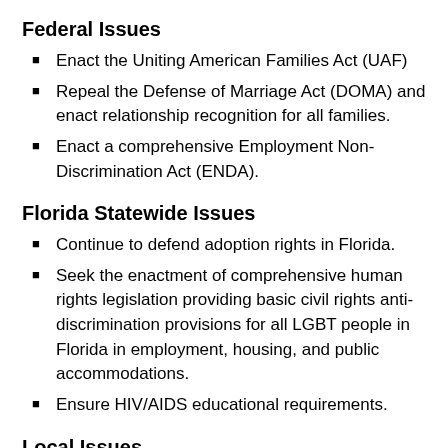Federal Issues
Enact the Uniting American Families Act (UAF)
Repeal the Defense of Marriage Act (DOMA) and enact relationship recognition for all families.
Enact a comprehensive Employment Non-Discrimination Act (ENDA).
Florida Statewide Issues
Continue to defend adoption rights in Florida.
Seek the enactment of comprehensive human rights legislation providing basic civil rights anti-discrimination provisions for all LGBT people in Florida in employment, housing, and public accommodations.
Ensure HIV/AIDS educational requirements.
Local Issues